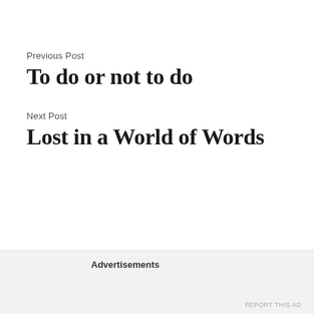Previous Post
To do or not to do
Next Post
Lost in a World of Words
Comment
Advertisements
REPORT THIS AD